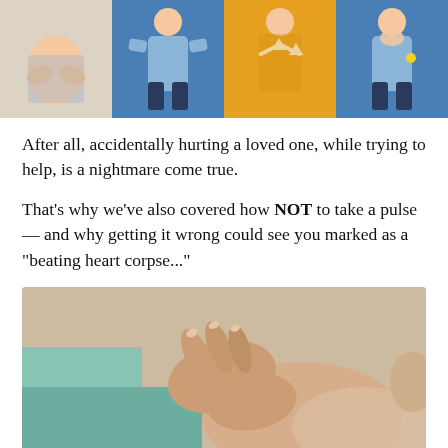[Figure (illustration): Four-panel illustration showing first aid / Heimlich maneuver steps with cartoon figures in blue and yellow shirts]
After all, accidentally hurting a loved one, while trying to help, is a nightmare come true.
That's why we've also covered how NOT to take a pulse — and why getting it wrong could see you marked as a "beating heart corpse..."
[Figure (photo): Close-up photo of hands performing CPR or pulse check on a person's chest/neck area]